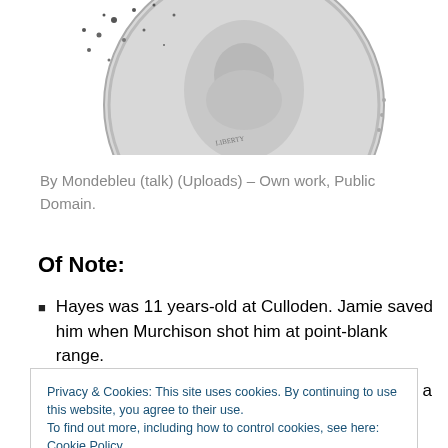[Figure (photo): Partial view of a silver coin showing a portrait, photographed against a white background]
By Mondebleu (talk) (Uploads) – Own work, Public Domain.
Of Note:
Hayes was 11 years-old at Culloden. Jamie saved him when Murchison shot him at point-blank range.
Hayes giving Jamie the letter from Tryon to form a
Privacy & Cookies: This site uses cookies. By continuing to use this website, you agree to their use.
To find out more, including how to control cookies, see here: Cookie Policy
Duncan calls to Roger and introduces him to the new